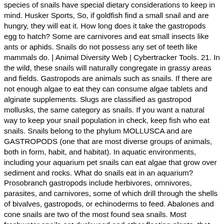species of snails have special dietary considerations to keep in mind. Husker Sports, So, if goldfish find a small snail and are hungry, they will eat it. How long does it take the gastropods egg to hatch? Some are carnivores and eat small insects like ants or aphids. Snails do not possess any set of teeth like mammals do. | Animal Diversity Web | Cybertracker Tools. 21. In the wild, these snails will naturally congregate in grassy areas and fields. Gastropods are animals such as snails. If there are not enough algae to eat they can consume algae tablets and alginate supplements. Slugs are classified as gastropod mollusks, the same category as snails. If you want a natural way to keep your snail population in check, keep fish who eat snails. Snails belong to the phylum MOLLUSCA and are GASTROPODS (one that are most diverse groups of animals, both in form, habit, and habitat). In aquatic environments, including your aquarium pet snails can eat algae that grow over sediment and rocks. What do snails eat in an aquarium? Prosobranch gastropods include herbivores, omnivores, parasites, and carnivores, some of which drill through the shells of bivalves, gastropods, or echinoderms to feed. Abalones and cone snails are two of the most found sea snails. Most freshwater snails eat duckweed and other floating plants, that are usually abundant in ponds, lakes, and slow-moving rivers. While pond snails are known to devour garden